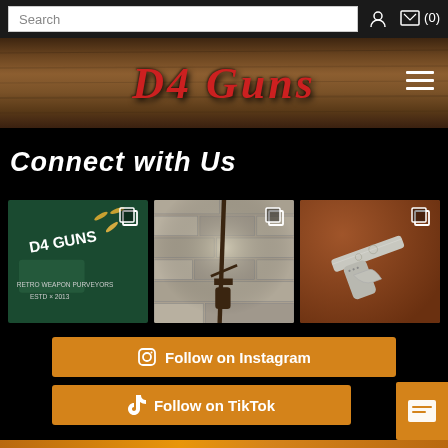Search  (0)
D4 Guns
Connect with Us
[Figure (photo): D4 Guns branded t-shirt with bullet casings on dark green fabric]
[Figure (photo): Antique rifle leaning against a stone brick wall]
[Figure (photo): Ornate engraved silver pistol on brown leather surface]
Follow on Instagram
Follow on TikTok